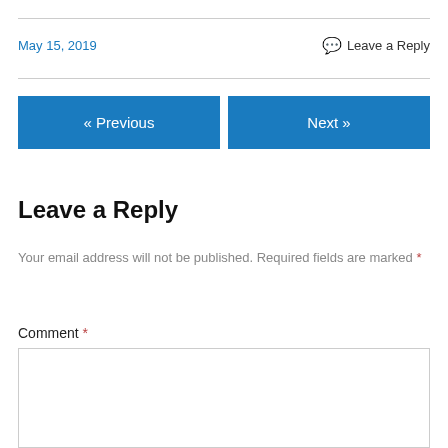May 15, 2019
Leave a Reply
« Previous
Next »
Leave a Reply
Your email address will not be published. Required fields are marked *
Comment *